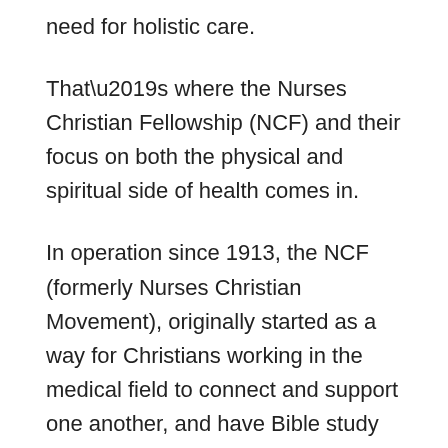need for holistic care.
That’s where the Nurses Christian Fellowship (NCF) and their focus on both the physical and spiritual side of health comes in.
In operation since 1913, the NCF (formerly Nurses Christian Movement), originally started as a way for Christians working in the medical field to connect and support one another, and have Bible study around their fluctuating lifestyles.
“[During the World Wars] nurses also lived in together,” said NCF Australia President Gabrielle Macaulay, “they often couldn’t get to church, and so